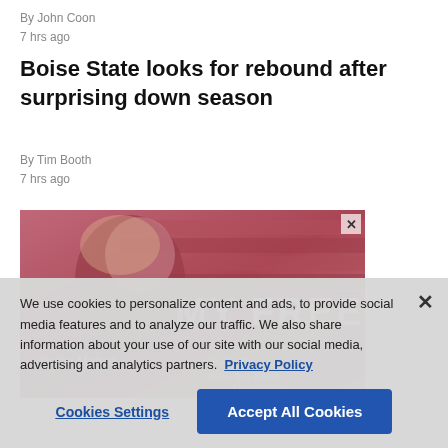By John Coon
7 hrs ago
Boise State looks for rebound after surprising down season
By Tim Booth
7 hrs ago
[Figure (photo): Advertisement banner showing a woman with blonde hair against a pink/red toned background with text 'MY FREE' and 'Kathy Mattea' and 'www.1forall.today']
We use cookies to personalize content and ads, to provide social media features and to analyze our traffic. We also share information about your use of our site with our social media, advertising and analytics partners.  Privacy Policy
Cookies Settings   Accept All Cookies